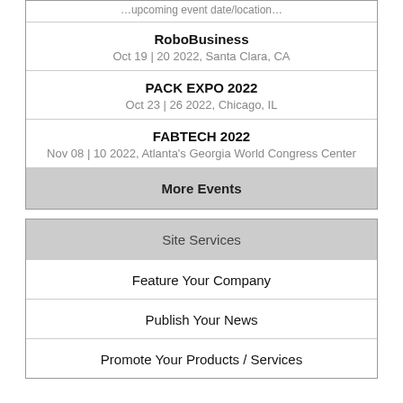(partial top event date/location)
RoboBusiness
Oct 19 | 20 2022, Santa Clara, CA
PACK EXPO 2022
Oct 23 | 26 2022, Chicago, IL
FABTECH 2022
Nov 08 | 10 2022, Atlanta's Georgia World Congress Center
More Events
Site Services
Feature Your Company
Publish Your News
Promote Your Products / Services